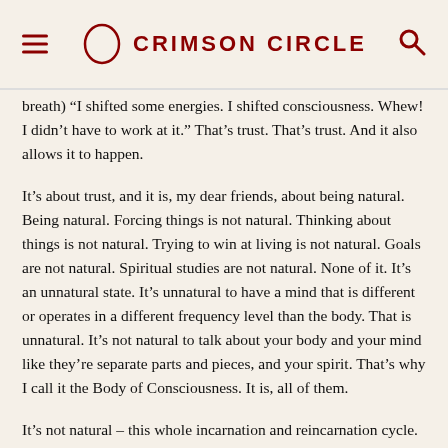CRIMSON CIRCLE
breath) “I shifted some energies. I shifted consciousness. Whew! I didn’t have to work at it.” That’s trust. That’s trust. And it also allows it to happen.
It’s about trust, and it is, my dear friends, about being natural. Being natural. Forcing things is not natural. Thinking about things is not natural. Trying to win at living is not natural. Goals are not natural. Spiritual studies are not natural. None of it. It’s an unnatural state. It’s unnatural to have a mind that is different or operates in a different frequency level than the body. That is unnatural. It’s not natural to talk about your body and your mind like they’re separate parts and pieces, and your spirit. That’s why I call it the Body of Consciousness. It is, all of them.
It’s not natural – this whole incarnation and reincarnation cycle. It’s not natural. Those were interesting experiences, but let’s get back to your natural state of being … back to natural flow of energy. In the next breath, we can … affect all of it.